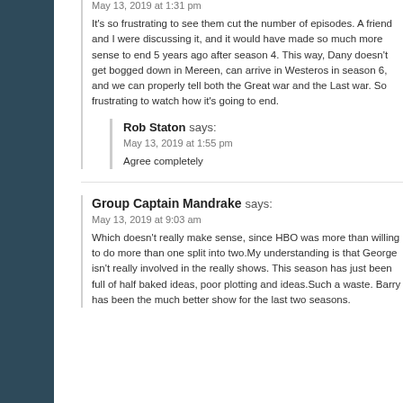May 13, 2019 at 1:31 pm
It's so frustrating to see them cut the number of episodes. A friend and I were discussing it, and it would have made so much more sense to end 5 years ago after season 4. This way, Dany doesn't get bogged down in Mereen, can arrive in Westeros in season 6, and we can properly tell both the Great war and the Last war. So frustrating to watch how it's going to end.
Rob Staton says:
May 13, 2019 at 1:55 pm
Agree completely
Group Captain Mandrake says:
May 13, 2019 at 9:03 am
Which doesn't really make sense, since HBO was more than willing to do more than one split into two.My understanding is that George isn't really involved in the really shows. This season has just been full of half baked ideas, poor plotting and ideas.Such a waste. Barry has been the much better show for the last two seasons.